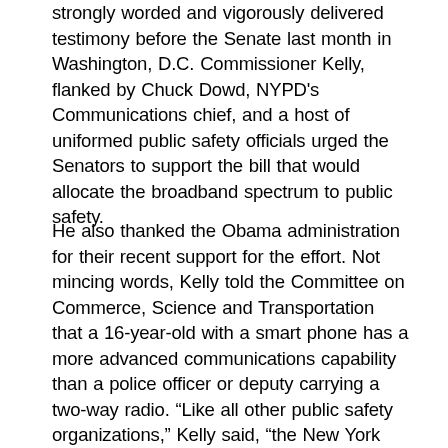strongly worded and vigorously delivered testimony before the Senate last month in Washington, D.C. Commissioner Kelly, flanked by Chuck Dowd, NYPD's Communications chief, and a host of uniformed public safety officials urged the Senators to support the bill that would allocate the broadband spectrum to public safety.
He also thanked the Obama administration for their recent support for the effort. Not mincing words, Kelly told the Committee on Commerce, Science and Transportation that a 16-year-old with a smart phone has a more advanced communications capability than a police officer or deputy carrying a two-way radio. “Like all other public safety organizations,” Kelly said, “the New York City Police Department relies mostly on the use of two-way voice radios to communicate with responding officers and direct them to a scene. But the technology is very limited.